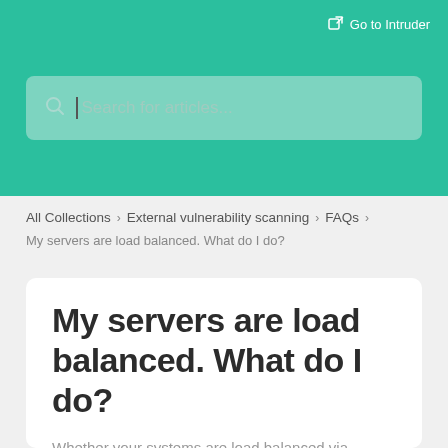Go to Intruder
[Figure (screenshot): Search bar with placeholder text 'Search for articles...' and a cursor, on a teal background]
All Collections  >  External vulnerability scanning  >  FAQs
My servers are load balanced. What do I do?
My servers are load balanced. What do I do?
Whether your systems are load balanced via hardware or software, this article discusses best